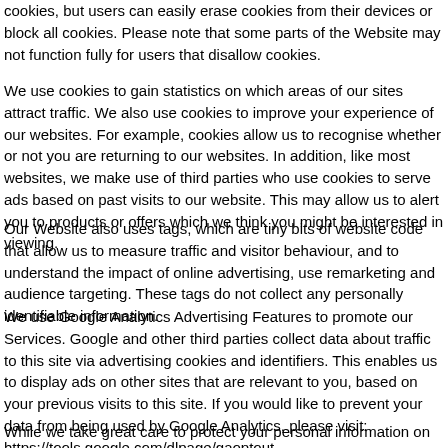cookies, but users can easily erase cookies from their devices or block all cookies. Please note that some parts of the Website may not function fully for users that disallow cookies.
We use cookies to gain statistics on which areas of our sites attract traffic. We also use cookies to improve your experience of our websites. For example, cookies allow us to recognise whether or not you are returning to our websites. In addition, like most websites, we make use of third parties who use cookies to serve ads based on past visits to our website. This may allow us to alert you to products or offers which we think you might be interested in viewing.
Our Website also uses tags, which are tiny bits of website code that allow us to measure traffic and visitor behaviour, and to understand the impact of online advertising, use remarketing and audience targeting. These tags do not collect any personally identifiable information.
We use Google Analytics Advertising Features to promote our Services. Google and other third parties collect data about traffic to this site via advertising cookies and identifiers. This enables us to display ads on other sites that are relevant to you, based on your previous visits to this site. If you would like to prevent your data from being used by Google Analytics, please visit: https://tools.google.com/dlpage/gaoptout
While we take great care to protect your personal information on our Website and use state-of-the-art data transmission encryption